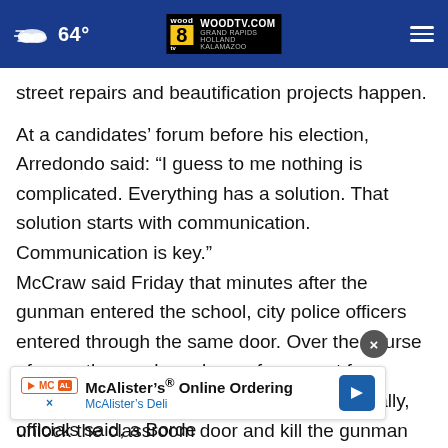64° WOODTV.COM WOOD 8 GRAND RAPIDS HOLLAND KALAMAZOO
street repairs and beautification projects happen.
At a candidates' forum before his election, Arredondo said: “I guess to me nothing is complicated. Everything has a solution. That solution starts with communication. Communication is key.”
McCraw said Friday that minutes after the gunman entered the school, city police officers entered through the same door. Over the course of more than an hour, law enforcement from multiple agencies arrived on the scene. Finally, officials said, a Borde... unlock the classroom door and kill the gunman
[Figure (other): McAlister's Deli advertisement banner with play button, McAl logo, text 'McAlister's® Online Ordering / McAlister's Deli', blue arrow icon, and close/X buttons]